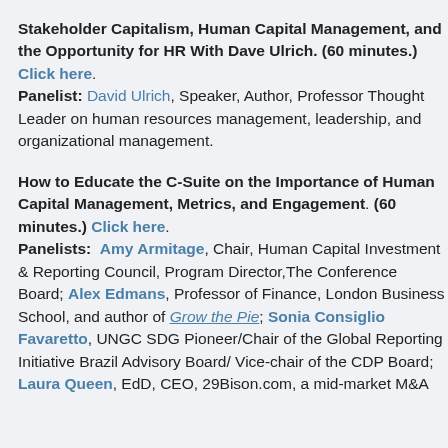Stakeholder Capitalism, Human Capital Management, and the Opportunity for HR With Dave Ulrich. (60 minutes.) Click here. Panelist: David Ulrich, Speaker, Author, Professor Thought Leader on human resources management, leadership, and organizational management.
How to Educate the C-Suite on the Importance of Human Capital Management, Metrics, and Engagement. (60 minutes.) Click here. Panelists: Amy Armitage, Chair, Human Capital Investment & Reporting Council, Program Director,The Conference Board; Alex Edmans, Professor of Finance, London Business School, and author of Grow the Pie; Sonia Consiglio Favaretto, UNGC SDG Pioneer/Chair of the Global Reporting Initiative Brazil Advisory Board/ Vice-chair of the CDP Board; Laura Queen, EdD, CEO, 29Bison.com, a mid-market M&A